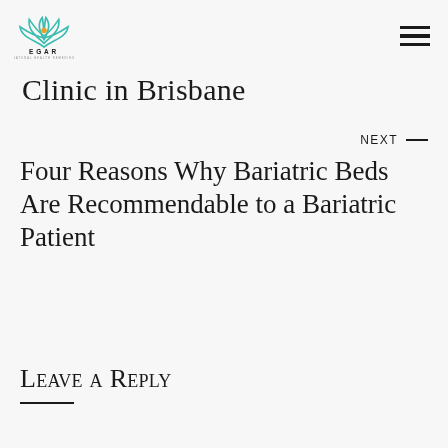EGAR Natural Health Remedies
Clinic in Brisbane
NEXT —
Four Reasons Why Bariatric Beds Are Recommendable to a Bariatric Patient
Leave a Reply